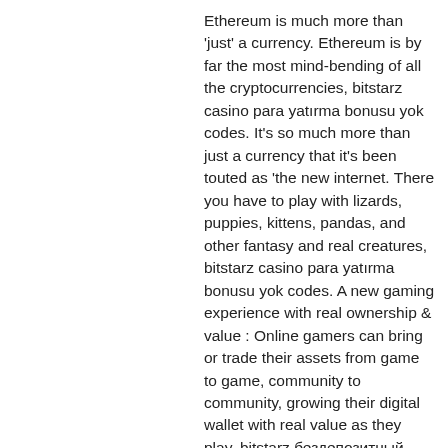Ethereum is much more than 'just' a currency. Ethereum is by far the most mind-bending of all the cryptocurrencies, bitstarz casino para yatırma bonusu yok codes. It's so much more than just a currency that it's been touted as 'the new internet. There you have to play with lizards, puppies, kittens, pandas, and other fantasy and real creatures, bitstarz casino para yatırma bonusu yok codes. A new gaming experience with real ownership & value : Online gamers can bring or trade their assets from game to game, community to community, growing their digital wallet with real value as they play, bitstarz бездепозитный бонус code. Using it during registration makes you eligible for a wide range of welcome bonuses with our exclusive bitstarz casino no deposit 30 free. If you don't fancy making a deposit as soon as you sign-up, you can take advantage of